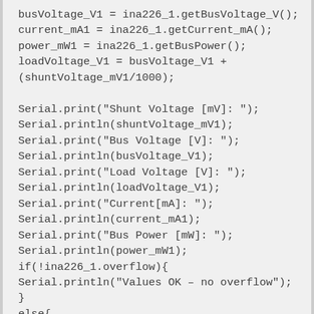busVoltage_V1 = ina226_1.getBusVoltage_V();
current_mA1 = ina226_1.getCurrent_mA();
power_mW1 = ina226_1.getBusPower();
loadVoltage_V1 = busVoltage_V1 + (shuntVoltage_mV1/1000);

Serial.print("Shunt Voltage [mV]: ");
Serial.println(shuntVoltage_mV1);
Serial.print("Bus Voltage [V]: ");
Serial.println(busVoltage_V1);
Serial.print("Load Voltage [V]: ");
Serial.println(loadVoltage_V1);
Serial.print("Current[mA]: ");
Serial.println(current_mA1);
Serial.print("Bus Power [mW]: ");
Serial.println(power_mW1);
if(!ina226_1.overflow){
Serial.println("Values OK – no overflow");
}
else{
Serial.println("Overflow! Choose higher current range");
}